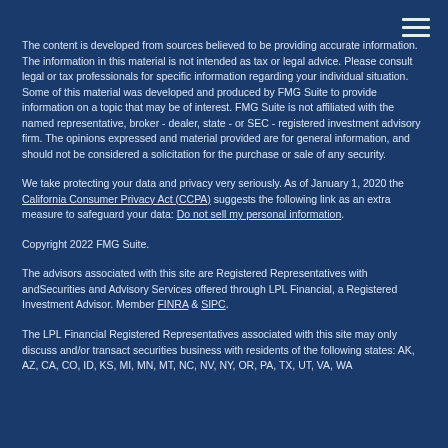[Figure (other): Hamburger menu icon (three horizontal white lines) in top-right corner]
The content is developed from sources believed to be providing accurate information. The information in this material is not intended as tax or legal advice. Please consult legal or tax professionals for specific information regarding your individual situation. Some of this material was developed and produced by FMG Suite to provide information on a topic that may be of interest. FMG Suite is not affiliated with the named representative, broker - dealer, state - or SEC - registered investment advisory firm. The opinions expressed and material provided are for general information, and should not be considered a solicitation for the purchase or sale of any security.
We take protecting your data and privacy very seriously. As of January 1, 2020 the California Consumer Privacy Act (CCPA) suggests the following link as an extra measure to safeguard your data: Do not sell my personal information.
Copyright 2022 FMG Suite.
The advisors associated with this site are Registered Representatives with andSecurities and Advisory Services offered through LPL Financial, a Registered Investment Advisor. Member FINRA & SIPC.
The LPL Financial Registered Representatives associated with this site may only discuss and/or transact securities business with residents of the following states: AK, AZ, CA, CO, ID, KS, MI, MN, MT, NC, NV, NY, OR, PA, TX, UT, VA, WA